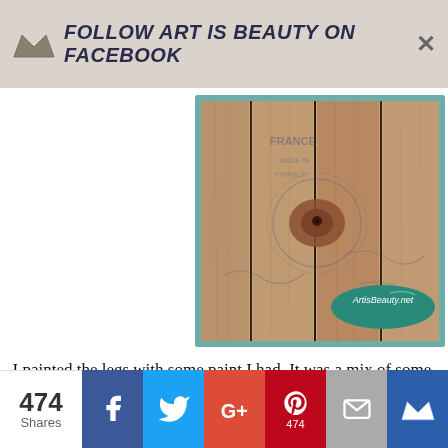Follow ART IS BEAUTY on FACEBOOK
[Figure (photo): Rustic wooden pallet boards with natural wood grain, knots, and markings. An oval teal badge reading 'ArtisBeauty.net' is visible in the lower right corner. The image has a teal/mint colored border.]
I painted the legs with some paint I had. It was a mix of some blue and cream color, to make a nice dusty blue.
[Figure (infographic): Social share bar with 474 Shares count, Facebook, Twitter, Google+, Pinterest (474), Email, and crown/bookmark buttons.]